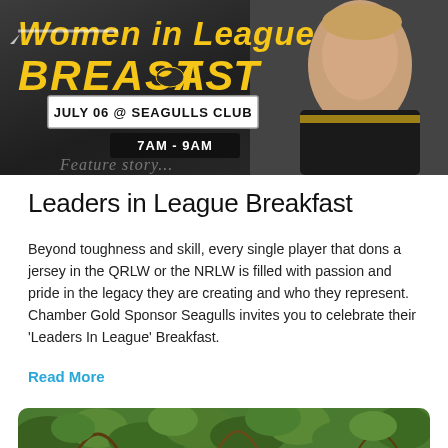[Figure (photo): Women in League Breakfast promotional banner: dark background with yellow italic text reading 'Women in League BREAKFAST', a date box showing 'JULY 06 @ SEAGULLS CLUB' in white box, time '7AM - 9AM' in black box, and a female rugby league player on the right side.]
Leaders in League Breakfast
Beyond toughness and skill, every single player that dons a jersey in the QRLW or the NRLW is filled with passion and pride in the legacy they are creating and who they represent. Chamber Gold Sponsor Seagulls invites you to celebrate their ‘Leaders In League’ Breakfast.
Read More
[Figure (photo): Bottom portion of a photo showing green foliage and tree branches.]